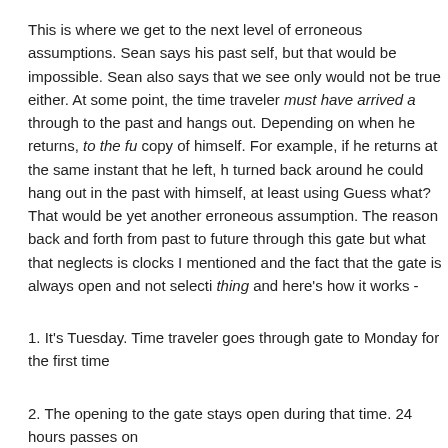This is where we get to the next level of erroneous assumptions. Sean says his past self, but that would be impossible. Sean also says that we see only would not be true either. At some point, the time traveler must have arrived through to the past and hangs out. Depending on when he returns, to the fu copy of himself. For example, if he returns at the same instant that he left, h turned back around he could hang out in the past with himself, at least using Guess what? That would be yet another erroneous assumption. The reason back and forth from past to future through this gate but what that neglects is clocks I mentioned and the fact that the gate is always open and not selecti thing and here's how it works -
1. It's Tuesday. Time traveler goes through gate to Monday for the first time
2. The opening to the gate stays open during that time. 24 hours passes on